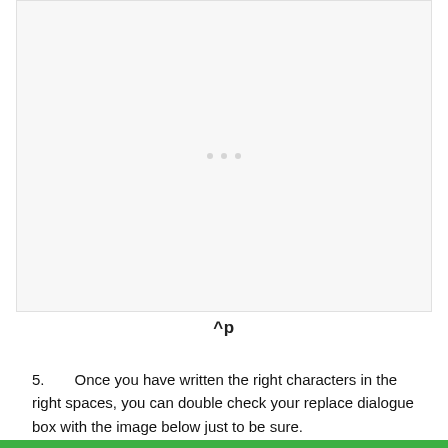[Figure (screenshot): A screenshot placeholder area showing a faint dialog or UI element with three faint dots in the center, on a light gray background.]
^p
5. Once you have written the right characters in the right spaces, you can double check your replace dialogue box with the image below just to be sure.